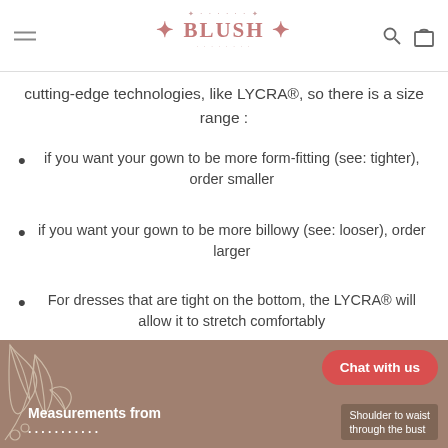BLUSH — website header with logo, hamburger menu, search and cart icons
cutting-edge technologies, like LYCRA®, so there is a size range :
if you want your gown to be more form-fitting (see: tighter), order smaller
if you want your gown to be more billowy (see: looser), order larger
For dresses that are tight on the bottom, the LYCRA® will allow it to stretch comfortably
[Figure (photo): Tan/brown banner with floral leaf illustration on left, 'Chat with us' red button top right, 'Measurements from' bold white text bottom left, 'Shoulder to waist through the bust' text overlay bottom right]